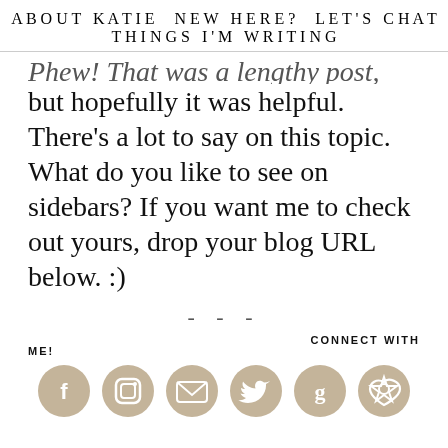ABOUT KATIE   NEW HERE?   LET'S CHAT
THINGS I'M WRITING
Phew! That was a lengthy post, but hopefully it was helpful. There's a lot to say on this topic. What do you like to see on sidebars? If you want me to check out yours, drop your blog URL below. :)
- - -
CONNECT WITH ME!
[Figure (infographic): Six circular tan/gold social media icons: Facebook, Instagram, Email, Twitter, Goodreads, Pinterest]